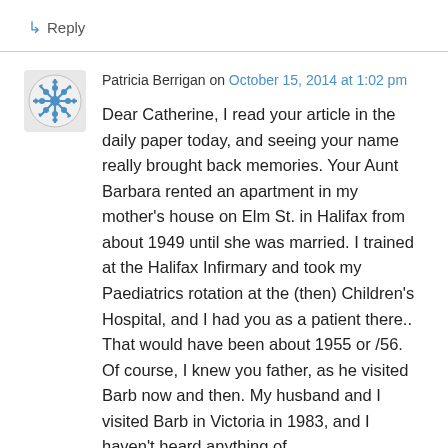↳ Reply
Patricia Berrigan on October 15, 2014 at 1:02 pm
Dear Catherine, I read your article in the daily paper today, and seeing your name really brought back memories. Your Aunt Barbara rented an apartment in my mother's house on Elm St. in Halifax from about 1949 until she was married. I trained at the Halifax Infirmary and took my Paediatrics rotation at the (then) Children's Hospital, and I had you as a patient there.. That would have been about 1955 or /56. Of course, I knew you father, as he visited Barb now and then. My husband and I visited Barb in Victoria in 1983, and I haven't heard anything of